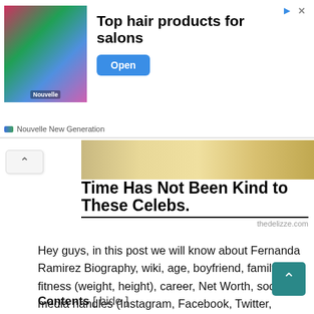[Figure (screenshot): Advertisement banner for Nouvelle New Generation hair products with colorful hair images on the left, 'Top hair products for salons' text in the center, and a blue 'Open' button on the right.]
[Figure (photo): Partial celebrity photo showing blonde hair at the top of the article.]
Time Has Not Been Kind to These Celebs.
thedelizze.com
Hey guys, in this post we will know about Fernanda Ramirez Biography, wiki, age, boyfriend, family, fitness (weight, height), career, Net Worth, social media handles (Instagram, Facebook, Twitter, YouTube), and more.
Fernanda Ramirez
Contents [ hide ]